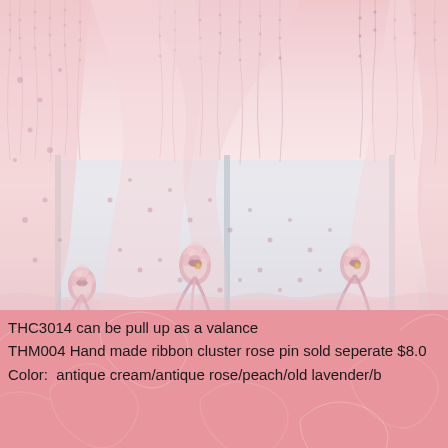[Figure (photo): Photo of pink lace curtains pulled up as a valance with ribbon cluster rose pins, hanging in front of a window with soft pink floral lace fabric bunched and tied at intervals.]
THC3014 can be pull up as a valance
THM004 Hand made ribbon cluster rose pin sold seperate $8.0
Color:  antique cream/antique rose/peach/old lavender/b